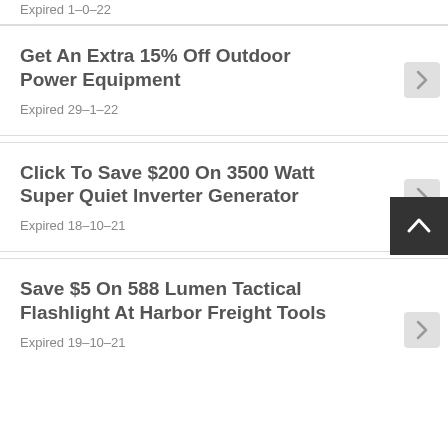Expired 1-0-22
Get An Extra 15% Off Outdoor Power Equipment
Expired 29-1-22
Click To Save $200 On 3500 Watt Super Quiet Inverter Generator
Expired 18-10-21
Save $5 On 588 Lumen Tactical Flashlight At Harbor Freight Tools
Expired 19-10-21